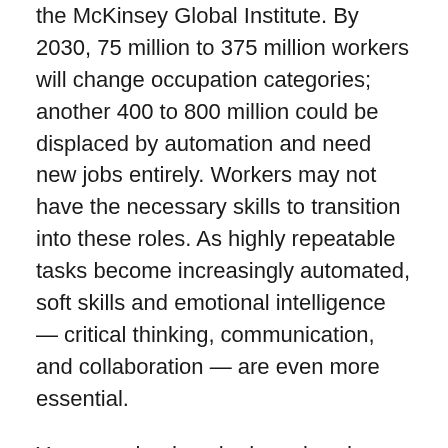the McKinsey Global Institute. By 2030, 75 million to 375 million workers will change occupation categories; another 400 to 800 million could be displaced by automation and need new jobs entirely. Workers may not have the necessary skills to transition into these roles. As highly repeatable tasks become increasingly automated, soft skills and emotional intelligence — critical thinking, communication, and collaboration — are even more essential.
You are a leader who has already mastered the SMART method of reaching goals that you learned in business school. You know that goals must be: S – Specific, M – Measurable, A – Attainable, R - Relevant and T – Time based. In today's work environment that is not enough. At a certain level in leadership, everyone is smart